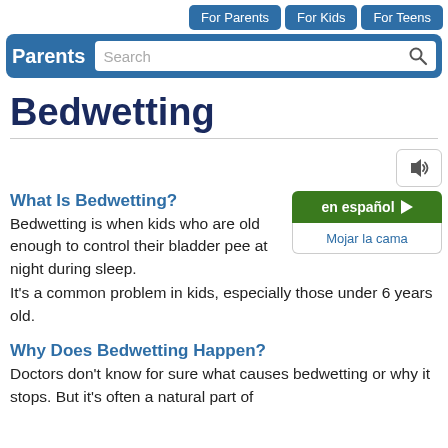For Parents | For Kids | For Teens
Parents  Search
Bedwetting
What Is Bedwetting?
Bedwetting is when kids who are old enough to control their bladder pee at night during sleep. It's a common problem in kids, especially those under 6 years old.
en español  Mojar la cama
Why Does Bedwetting Happen?
Doctors don't know for sure what causes bedwetting or why it stops. But it's often a natural part of